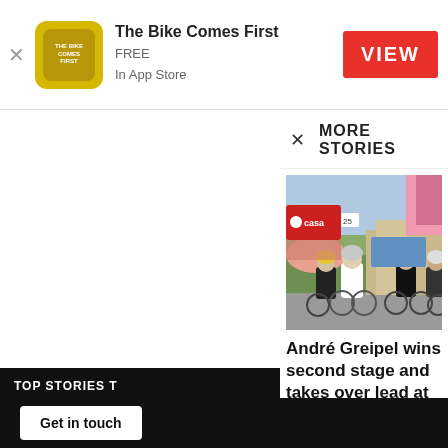The Bike Comes First – FREE In App Store – VIEW
MORE STORIES
[Figure (photo): Cyclists racing in a sprint finish at what appears to be the Giro d'Italia, with multiple riders including one in a white jersey leading the group]
André Greipel wins second stage and takes over lead at Giro...
TBCF - May 6, 2017
TOP STORIES T
STAY CONNECT
53,973 Fan
26,507 Foll
51 Subscri
Get in touch